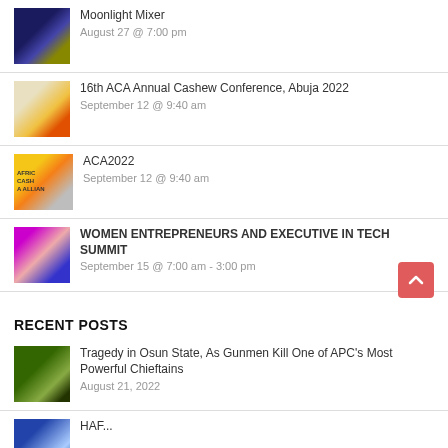Moonlight Mixer
August 27 @ 7:00 pm
16th ACA Annual Cashew Conference, Abuja 2022
September 12 @ 9:40 am
ACA2022
September 12 @ 9:40 am
WOMEN ENTREPRENEURS AND EXECUTIVE IN TECH SUMMIT
September 15 @ 7:00 am - 3:00 pm
RECENT POSTS
Tragedy in Osun State, As Gunmen Kill One of APC’s Most Powerful Chieftains
August 21, 2022
HAF...